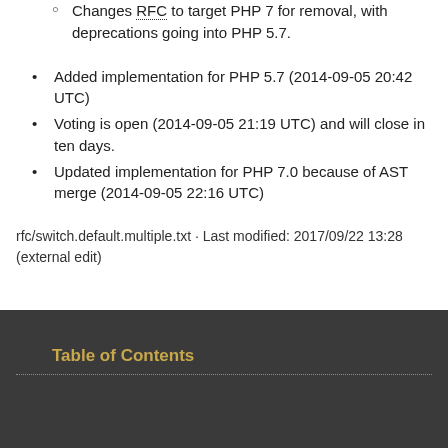Changes RFC to target PHP 7 for removal, with deprecations going into PHP 5.7.
Added implementation for PHP 5.7 (2014-09-05 20:42 UTC)
Voting is open (2014-09-05 21:19 UTC) and will close in ten days.
Updated implementation for PHP 7.0 because of AST merge (2014-09-05 22:16 UTC)
rfc/switch.default.multiple.txt · Last modified: 2017/09/22 13:28 (external edit)
Table of Contents